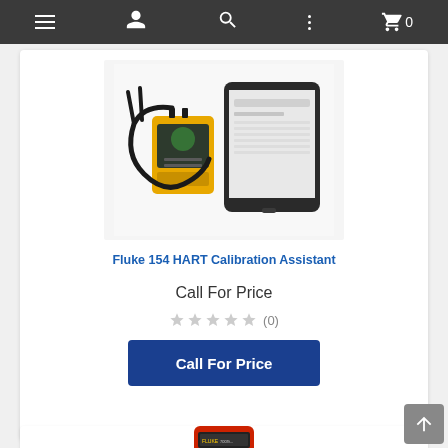Navigation bar with menu, user, search, more options, and cart (0) icons
[Figure (photo): Fluke 154 HART Calibration Assistant device — a yellow handheld calibration module with test leads connected by a black coiled cable, shown next to a tablet displaying the calibration software interface, on a white background]
Fluke 154 HART Calibration Assistant
Call For Price
☆ ☆ ☆ ☆ ☆ (0)
Call For Price
[Figure (photo): Partial view of a red Fluke multimeter device at the bottom of the page]